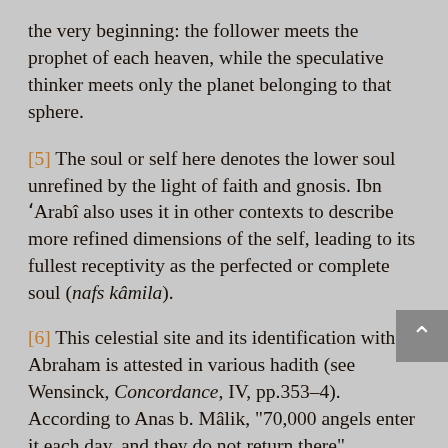the very beginning: the follower meets the prophet of each heaven, while the speculative thinker meets only the planet belonging to that sphere.
[5] The soul or self here denotes the lower soul unrefined by the light of faith and gnosis. Ibn 'Arabî also uses it in other contexts to describe more refined dimensions of the self, leading to its fullest receptivity as the perfected or complete soul (nafs kâmila).
[6] This celestial site and its identification with Abraham is attested in various hadith (see Wensinck, Concordance, IV, pp.353–4). According to Anas b. Mâlik, "70,000 angels enter it each day, and they do not return there" (Muslim, Imân, 259). The root of ma'mûr ('–m–r) has meanings of "to cultivate (the earth), make sure that the house is not deserted, frequent visit, inhabit, be